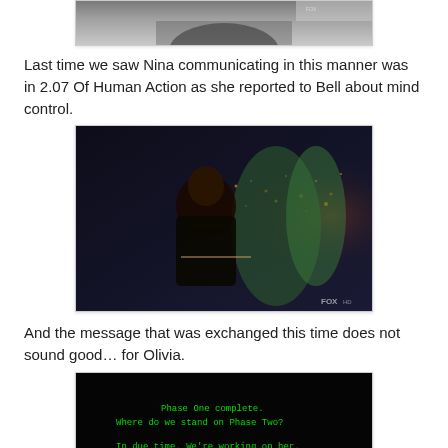[Figure (screenshot): Top portion of a TV screenshot showing a dark scene, partially cropped]
Last time we saw Nina communicating in this manner was in 2.07 Of Human Action as she reported to Bell about mind control.
[Figure (screenshot): TV screenshot showing a person (Nina) sitting at a computer in a dark futuristic setting with a cityscape in the background. FOX watermark visible.]
And the message that was exchanged this time does not sound good... for Olivia.
[Figure (screenshot): Dark screen showing green monospace text: 'Phase One complete. Where do we stand on Phase Two? In due time. We're working on her. She'll be ready soon.']